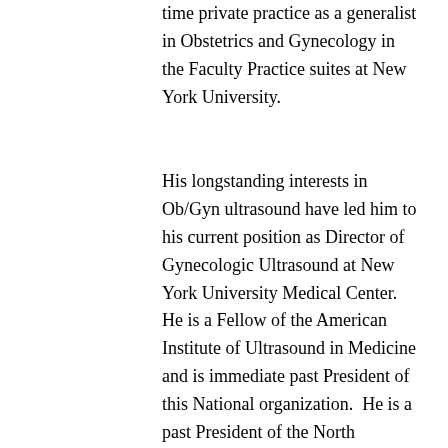time private practice as a generalist in Obstetrics and Gynecology in the Faculty Practice suites at New York University.
His longstanding interests in Ob/Gyn ultrasound have led him to his current position as Director of Gynecologic Ultrasound at New York University Medical Center.  He is a Fellow of the American Institute of Ultrasound in Medicine and is immediate past President of this National organization.  He is a past President of the North American Menopause Society.  He served on the Board of Directors of the American Registry of Diagnostic Medical Sonographers having prepared the test and administered policy for the certification of over 40,000 sonographers nationwide.  He is a